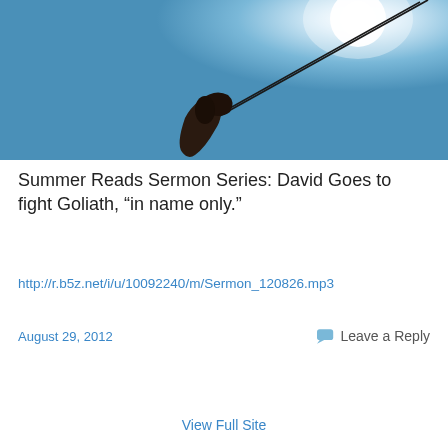[Figure (photo): A slingshot held up against a bright blue sky with the sun shining in the upper right corner; the silhouette of a hand and the slingshot forks are visible against the light.]
Summer Reads Sermon Series: David Goes to fight Goliath, “in name only.”
http://r.b5z.net/i/u/10092240/m/Sermon_120826.mp3
August 29, 2012
Leave a Reply
View Full Site